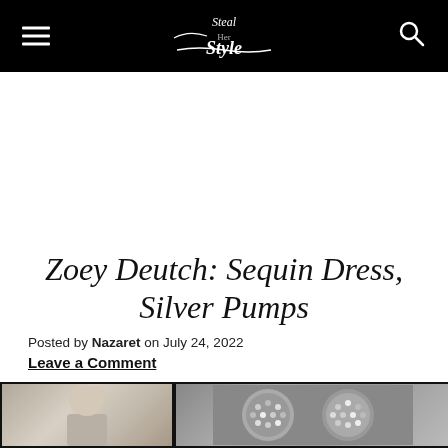Steal Her Style
Zoey Deutch: Sequin Dress, Silver Pumps
Posted by Nazaret on July 24, 2022
Leave a Comment
[Figure (photo): Bottom strip showing partial photo of a person on the left and sequin/glittery accessories on the right]